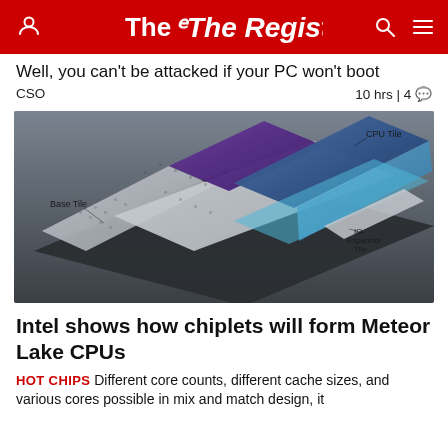The Register
Well, you can't be attacked if your PC won't boot
CSO   10 hrs | 4
[Figure (illustration): Intel Meteor Lake chiplet architecture diagram showing layered tiles: Base Tile (bottom), IO Expander Tile, CPU Tile (top blue), and additional blue tiles — an isometric exploded view of the chip package]
Intel shows how chiplets will form Meteor Lake CPUs
HOT CHIPS Different core counts, different cache sizes, and various cores possible in mix and match design, it